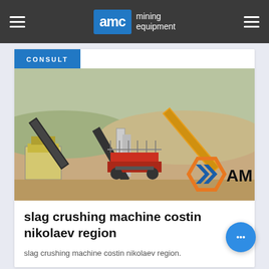AMC mining equipment
CONSULT
[Figure (photo): Outdoor mining/crushing facility with conveyor belts and heavy machinery at a quarry site. AMC logo visible in lower right corner.]
slag crushing machine costin nikolaev region
slag crushing machine costin nikolaev region.